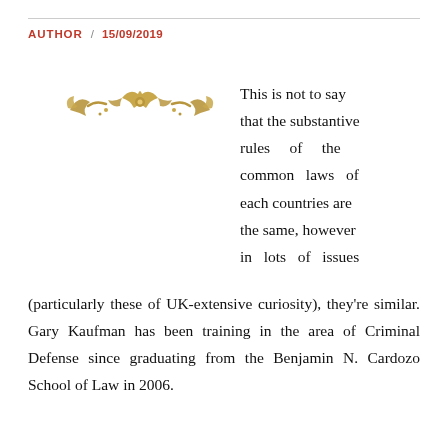AUTHOR / 15/09/2019
[Figure (illustration): Decorative gold ornamental divider]
This is not to say that the substantive rules of the common laws of each countries are the same, however in lots of issues (particularly these of UK-extensive curiosity), they're similar. Gary Kaufman has been training in the area of Criminal Defense since graduating from the Benjamin N. Cardozo School of Law in 2006.